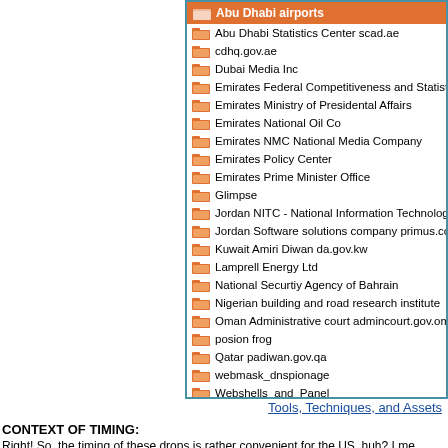[Figure (screenshot): File browser screenshot showing a list of folder items with orange folder icons. Items include: Abu Dhabi Airports (highlighted header in orange), Abu Dhabi Statistics Center scad.ae, cdhq.gov.ae, Dubai Media Inc, Emirates Federal Competitiveness and Statistics, Emirates Ministry of Presidental Affairs, Emirates National Oil Co, Emirates NMC National Media Company, Emirates Policy Center, Emirates Prime Minister Office, Glimpse, Jordan NITC - National Information Technology, Jordan Software solutions company primus.com, Kuwait Amiri Diwan da.gov.kw, Lamprell Energy Ltd, National Securtiy Agency of Bahrain, Nigerian building and road research institute, Oman Administrative court admincourt.gov.om, posion frog, Qatar padiwan.gov.qa, webmask_dnspionage, Webshells_and_Panel]
Tools, Techniques, and Assets
CONTEXT OF TIMING:
Right! So, the timing of these drops is rather convenient for the US, huh? I me